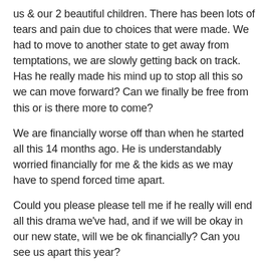us & our 2 beautiful children. There has been lots of tears and pain due to choices that were made. We had to move to another state to get away from temptations, we are slowly getting back on track. Has he really made his mind up to stop all this so we can move forward? Can we finally be free from this or is there more to come?
We are financially worse off than when he started all this 14 months ago. He is understandably worried financially for me & the kids as we may have to spend forced time apart.
Could you please please tell me if he really will end all this drama we've had, and if we will be okay in our new state, will we be ok financially? Can you see us apart this year?
Are we soulmates? I see so much potential in him to live a good decent honest life and I think we really are good for each other apart from this one thing.